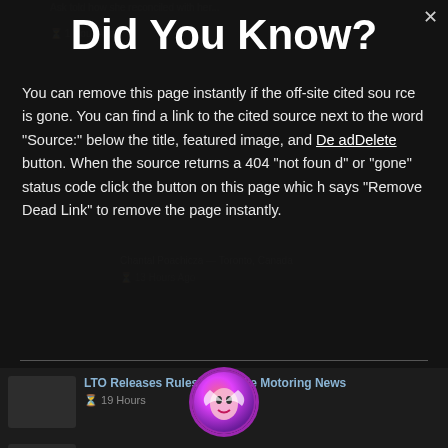Did You Know?
You can remove this page instantly if the off-site cited source is gone. You can find a link to the cited source next to the word "Source:" below the title, featured image, and DeadDelete button. When the source returns a 404 "not found" or "gone" status code click the button on this page which says "Remove Dead Link" to remove the page instantly.
[Figure (illustration): Circular avatar icon with purple/magenta gradient background and a stylized kissing face illustration]
Paisja Lazarus — Gossip
This will close in 30 seconds